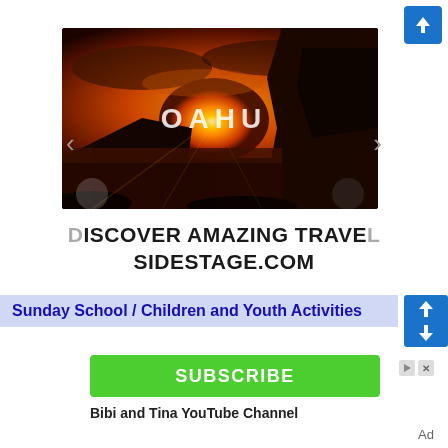[Figure (screenshot): Blue arrow/share button in top right corner]
[Figure (photo): Sunset travel video thumbnail showing coastal cliffs, ocean, and dramatic orange sky with text 'OAHU' overlaid. Navigation left/right chevrons visible below.]
DISCOVER AMAZING TRAVEL SIDESTAGE.COM
[Figure (screenshot): Sunday School / Children and Youth Activities banner ad with blue background and subscribe button]
Sunday School / Children and Youth Activities
SUBSCRIBE
Bibi and Tina YouTube Channel
Ad